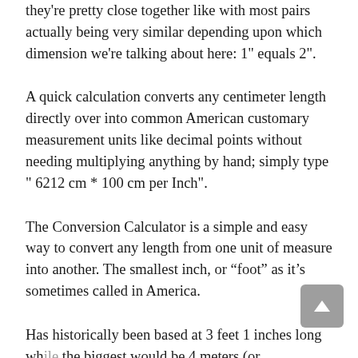they're pretty close together like with most pairs actually being very similar depending upon which dimension we're talking about here: 1" equals 2".
A quick calculation converts any centimeter length directly over into common American customary measurement units like decimal points without needing multiplying anything by hand; simply type " 6212 cm * 100 cm per Inch".
The Conversion Calculator is a simple and easy way to convert any length from one unit of measure into another. The smallest inch, or “foot” as it’s sometimes called in America.
Has historically been based at 3 feet 1 inches long while the biggest would be 4 meters (or approximately 13 ft.